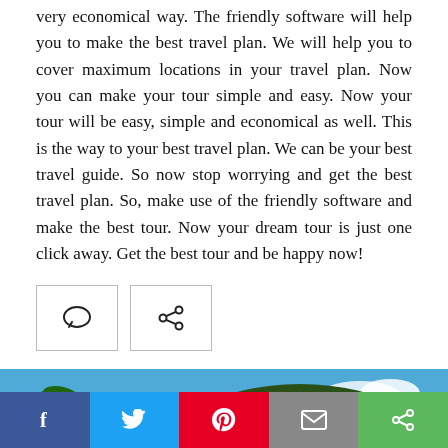very economical way. The friendly software will help you to make the best travel plan. We will help you to cover maximum locations in your travel plan. Now you can make your tour simple and easy. Now your tour will be easy, simple and economical as well. This is the way to your best travel plan. We can be your best travel guide. So now stop worrying and get the best travel plan. So, make use of the friendly software and make the best tour. Now your dream tour is just one click away. Get the best tour and be happy now!
[Figure (other): Two icon buttons: a comment/speech bubble icon and a share icon, each in a bordered box]
[Figure (photo): Partial photo showing tropical trees/palm trees with a blue sky and clouds, with a small red rectangle overlay in the bottom right]
[Figure (other): Social media sharing bar at the bottom with five buttons: Facebook (blue, f), Twitter (light blue, bird), Pinterest (red, P), Email (grey, envelope), Share (green, share icon)]